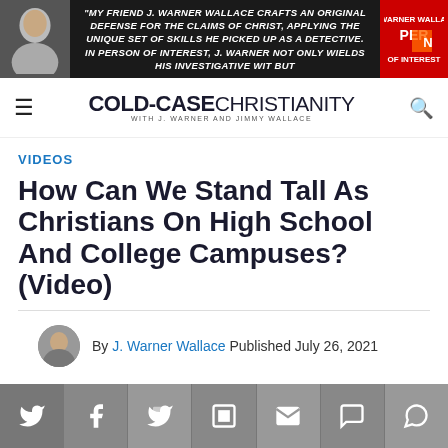[Figure (screenshot): Banner advertisement with dark background, man portrait on left, italic quote text about J. Warner Wallace, book cover on right reading PERSON OF INTEREST]
COLD-CASE CHRISTIANITY WITH J. WARNER AND JIMMY WALLACE
VIDEOS
How Can We Stand Tall As Christians On High School And College Campuses? (Video)
By J. Warner Wallace Published July 26, 2021
[Figure (infographic): Social sharing bar with icons for Twitter, Facebook, Flipboard, email, comments]